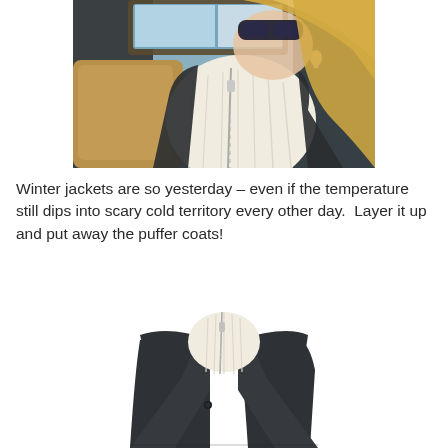[Figure (photo): Close-up photo of a blonde woman wearing sunglasses and a cream-colored cable-knit turtleneck with a zipper, sitting in a car with leather interior visible]
Winter jackets are so yesterday – even if the temperature still dips into scary cold territory every other day.  Layer it up and put away the puffer coats!
[Figure (photo): Product photo of a dark charcoal blazer/coat with a cream-colored cable-knit zip-up turtleneck collar insert, shown on an invisible mannequin against a white background]